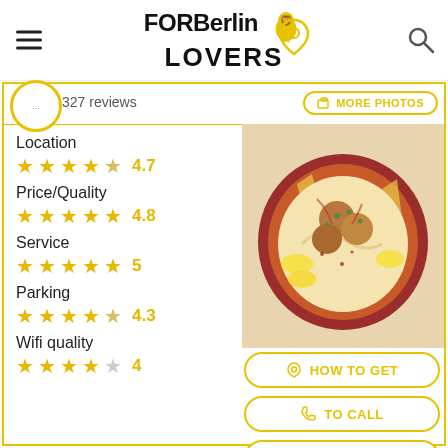FOR Berlin LOVERS [logo with lion icon]
327 reviews
MORE PHOTOS
Location
★★★★☆ 4.7
Price/Quality
★★★★★ 4.8
Service
★★★★★ 5
Parking
★★★★☆ 4.3
Wifi quality
★★★★☆ 4
[Figure (photo): A plate of falafel with hummus, herbs and lemon slices in a colorful ceramic dish]
HOW TO GET
TO CALL
WHATSAPP